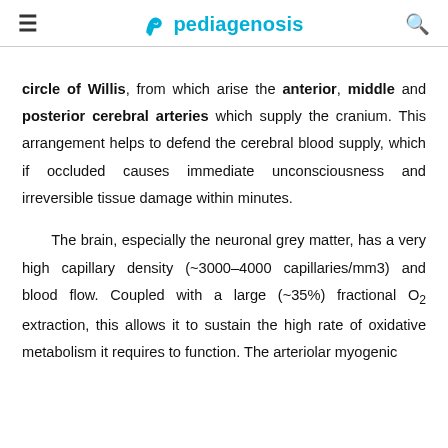pediagenosis
circle of Willis, from which arise the anterior, middle and posterior cerebral arteries which supply the cranium. This arrangement helps to defend the cerebral blood supply, which if occluded causes immediate unconsciousness and irreversible tissue damage within minutes.

The brain, especially the neuronal grey matter, has a very high capillary density (~3000–4000 capillaries/mm3) and blood flow. Coupled with a large (~35%) fractional O2 extraction, this allows it to sustain the high rate of oxidative metabolism it requires to function. The arteriolar myogenic